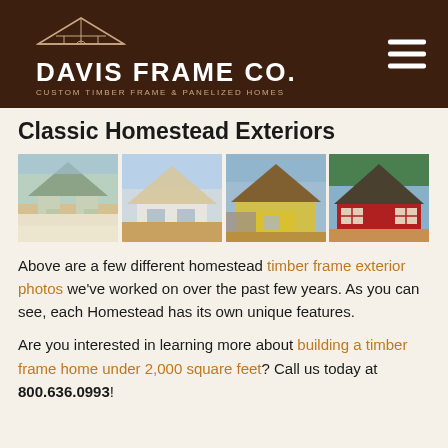DAVIS FRAME CO. — Custom Timber Frame & Panelized Homes
Classic Homestead Exteriors
[Figure (photo): Four exterior photos of different homestead timber frame homes side by side: a green/white home in snow, a white home under construction, a yellow/brown home with stone, and a red barn-style home.]
Above are a few different homestead timber frame exterior photos we've worked on over the past few years. As you can see, each Homestead has its own unique features.
Are you interested in learning more about building a timber frame home under 2,000 square feet? Call us today at 800.636.0993!